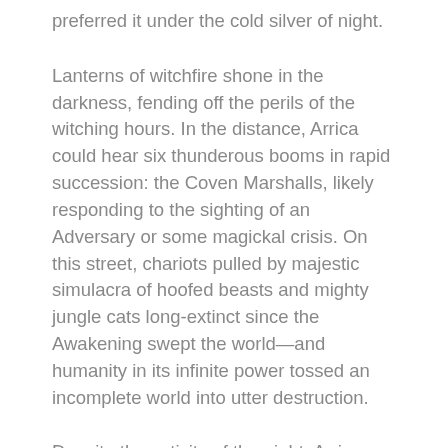preferred it under the cold silver of night.
Lanterns of witchfire shone in the darkness, fending off the perils of the witching hours. In the distance, Arrica could hear six thunderous booms in rapid succession: the Coven Marshalls, likely responding to the sighting of an Adversary or some magickal crisis. On this street, chariots pulled by majestic simulacra of hoofed beasts and mighty jungle cats long-extinct since the Awakening swept the world—and humanity in its infinite power tossed an incomplete world into utter destruction.
Despite the activity of the night, Arrica kept her eyes upon the heavens. Waiting for that moment, even if it wouldn't come now.
For a moment, she closed her brown eyes and breathed in the sweet smell of cinnamon and honey and imagined herself here. Despite the darkness, she felt a bright flash